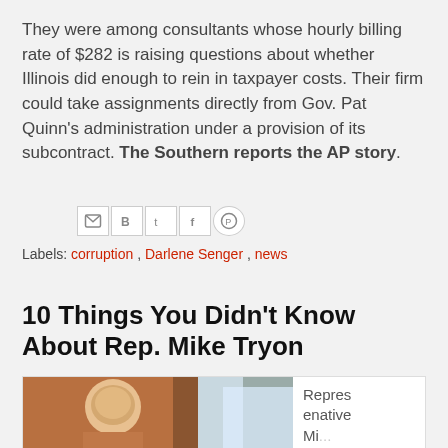They were among consultants whose hourly billing rate of $282 is raising questions about whether Illinois did enough to rein in taxpayer costs. Their firm could take assignments directly from Gov. Pat Quinn's administration under a provision of its subcontract. The Southern reports the AP story.
[Figure (other): Social sharing icons row: Gmail (M), Blogger (B), Twitter (t), Facebook (f), Pinterest (circle with P)]
Labels: corruption , Darlene Senger , news
10 Things You Didn't Know About Rep. Mike Tryon
[Figure (photo): Photo of Representative Mike Tryon, partial view showing a person with light brown hair against a blurred background]
Representative Mi...